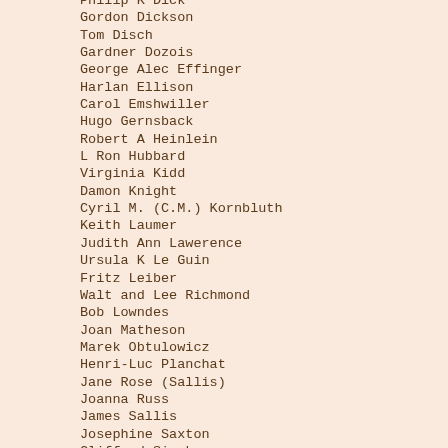Philip K Dick
Gordon Dickson
Tom Disch
Gardner Dozois
George Alec Effinger
Harlan Ellison
Carol Emshwiller
Hugo Gernsback
Robert A Heinlein
L Ron Hubbard
Virginia Kidd
Damon Knight
Cyril M. (C.M.) Kornbluth
Keith Laumer
Judith Ann Lawerence
Ursula K Le Guin
Fritz Leiber
Walt and Lee Richmond
Bob Lowndes
Joan Matheson
Marek Obtulowicz
Henri-Luc Planchat
Jane Rose (Sallis)
Joanna Russ
James Sallis
Josephine Saxton
Clifford Simak
Norman Spinrad
Anne McCaffery
Judith Merril